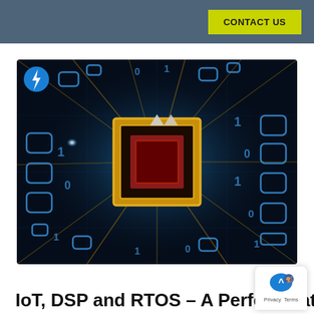CONTACT US
[Figure (illustration): Digital technology concept image showing a glowing microchip/processor at the center surrounded by binary digits (0s and 1s) and circuit patterns in blue and gold tones on a dark background, with a blue lightning bolt badge in the upper-left corner.]
IoT, DSP and RTOS – A Perfect Mat